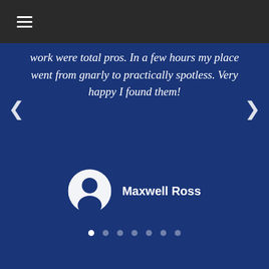Navigation bar with hamburger menu
work were total pros. In a few hours my place went from gnarly to practically spotless. Very happy I found them!
Maxwell Ross
[Figure (other): Carousel pagination dots, 7 dots total with first dot active/white]